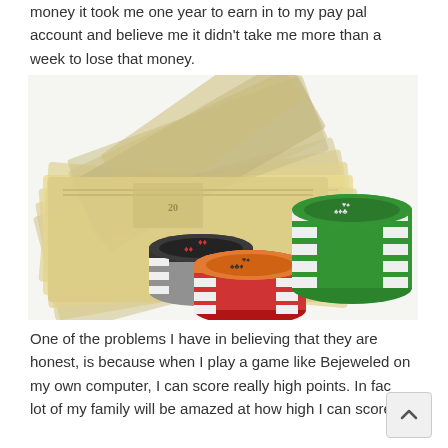money it took me one year to earn in to my pay pal account and believe me it didn't take me more than a week to lose that money.
[Figure (photo): A photo showing a fan of US dollar bills spread out on a surface with three stacks of poker chips on top — one black and white, one red and white, and one green and white. Playing cards are visible on top of the chips.]
One of the problems I have in believing that they are honest, is because when I play a game like Bejeweled on my own computer, I can score really high points. In fact a lot of my family will be amazed at how high I can score.